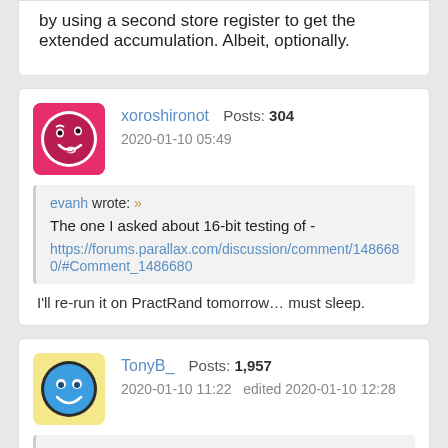by using a second store register to get the extended accumulation. Albeit, optionally.
xoroshironot  Posts: 304
2020-01-10 05:49
evanh wrote: » The one I asked about 16-bit testing of - https://forums.parallax.com/discussion/comment/1486680/#Comment_1486680
I'll re-run it on PractRand tomorrow... must sleep.
TonyB_  Posts: 1,957
2020-01-10 11:22  edited 2020-01-10 12:28
TonyB_ wrote: » Even if you have time to spare, I suggest reading...